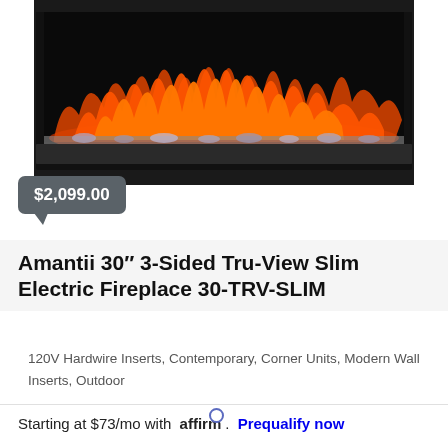[Figure (photo): Electric fireplace product photo showing a wide rectangular fireplace insert with glowing orange and red flames and decorative crystals/ember bed against a dark black surround]
$2,099.00
Amantii 30″ 3-Sided Tru-View Slim Electric Fireplace 30-TRV-SLIM
120V Hardwire Inserts, Contemporary, Corner Units, Modern Wall Inserts, Outdoor
Starting at $73/mo with affirm. Prequalify now